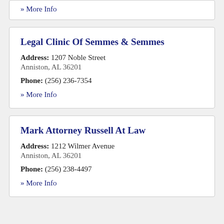» More Info
Legal Clinic Of Semmes & Semmes
Address: 1207 Noble Street
Anniston, AL 36201
Phone: (256) 236-7354
» More Info
Mark Attorney Russell At Law
Address: 1212 Wilmer Avenue
Anniston, AL 36201
Phone: (256) 238-4497
» More Info